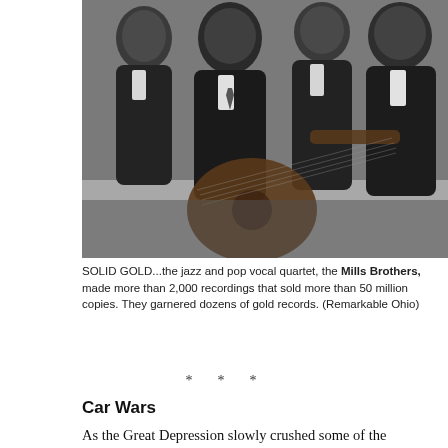[Figure (photo): Black and white photograph of the Mills Brothers, a jazz and pop vocal quartet. Four men in suits, one holding a guitar, posed together for a formal group portrait.]
SOLID GOLD...the jazz and pop vocal quartet, the Mills Brothers, made more than 2,000 recordings that sold more than 50 million copies. They garnered dozens of gold records. (Remarkable Ohio)
* * *
Car Wars
As the Great Depression slowly crushed some of the smaller automobile manufacturers, the Big Three